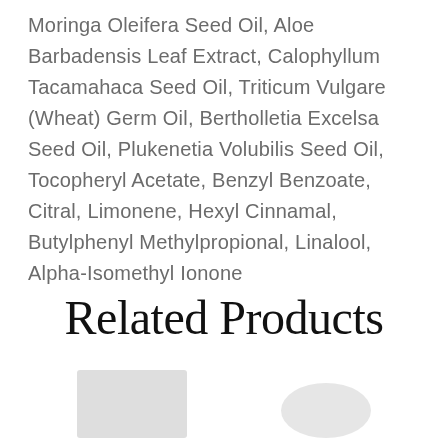Moringa Oleifera Seed Oil, Aloe Barbadensis Leaf Extract, Calophyllum Tacamahaca Seed Oil, Triticum Vulgare (Wheat) Germ Oil, Bertholletia Excelsa Seed Oil, Plukenetia Volubilis Seed Oil, Tocopheryl Acetate, Benzyl Benzoate, Citral, Limonene, Hexyl Cinnamal, Butylphenyl Methylpropional, Linalool, Alpha-Isomethyl Ionone
Related Products
[Figure (photo): Partially visible product images at the bottom of the page]